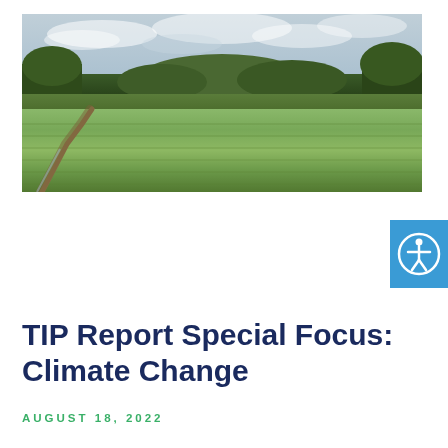[Figure (photo): Landscape photograph showing green rice paddies or agricultural fields with a dirt path on the left, dense trees and forest in the background, under a partly cloudy sky]
[Figure (other): Accessibility icon button — blue square with white universal accessibility symbol (person with outstretched arms in circle)]
TIP Report Special Focus: Climate Change
AUGUST 18, 2022